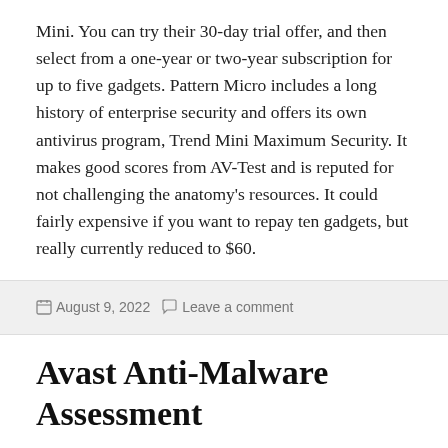Mini. You can try their 30-day trial offer, and then select from a one-year or two-year subscription for up to five gadgets. Pattern Micro includes a long history of enterprise security and offers its own antivirus program, Trend Mini Maximum Security. It makes good scores from AV-Test and is reputed for not challenging the anatomy's resources. It could fairly expensive if you want to repay ten gadgets, but really currently reduced to $60.
August 9, 2022   Leave a comment
Avast Anti-Malware Assessment
Avast's software is comparable to regarding other